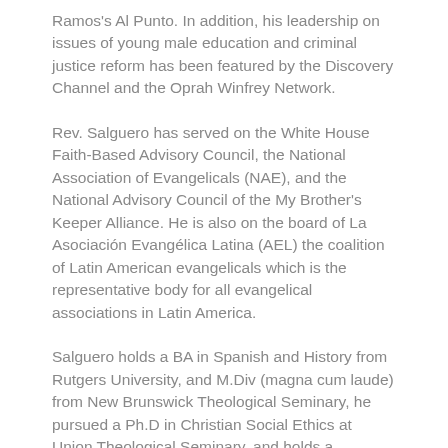Ramos's Al Punto. In addition, his leadership on issues of young male education and criminal justice reform has been featured by the Discovery Channel and the Oprah Winfrey Network.
Rev. Salguero has served on the White House Faith-Based Advisory Council, the National Association of Evangelicals (NAE), and the National Advisory Council of the My Brother's Keeper Alliance. He is also on the board of La Asociación Evangélica Latina (AEL) the coalition of Latin American evangelicals which is the representative body for all evangelical associations in Latin America.
Salguero holds a BA in Spanish and History from Rutgers University, and M.Div (magna cum laude) from New Brunswick Theological Seminary, he pursued a Ph.D in Christian Social Ethics at Union Theological Seminary, and holds a Doctorate in Divinity from